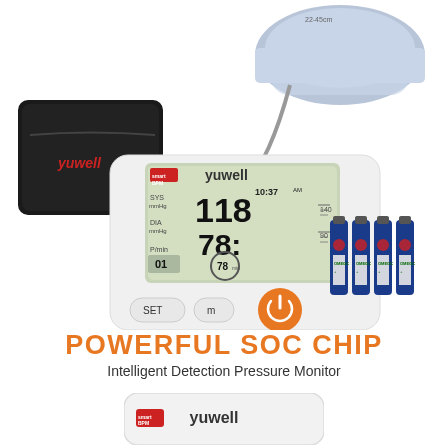[Figure (photo): Yuwell blood pressure monitor product photo showing: the main digital BP monitor unit with large LCD display showing SYS 118 mmHg, DIA 78 mmHg, pulse 78 bpm and time 10:37 AM, SET and m buttons, orange power button; a black carrying case with red yuwell logo; a gray arm cuff (22-45cm); four OMEGC AA batteries]
POWERFUL SOC CHIP
Intelligent Detection Pressure Monitor
[Figure (photo): Yuwell blood pressure monitor device close-up showing the top panel with yuwell branding and smart BPM logo]